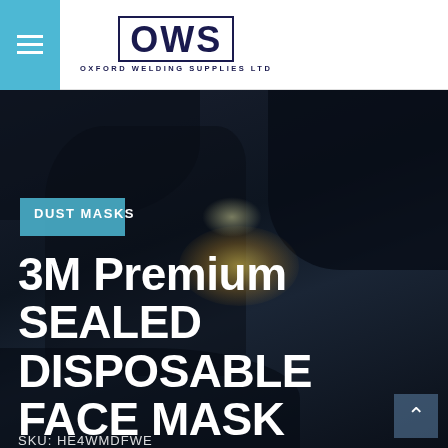[Figure (logo): Oxford Welding Supplies Ltd logo with OWS text in dark navy border, accompanied by a cyan/blue hamburger menu button]
[Figure (photo): Dark welding background photo showing a person welding with sparks/light in background, with 'DUST MASKS' category tag and product title '3M Premium SEALED DISPOSABLE FACE MASK RESPIRATOR VALVED AURA 9322+ FFP2 N95' overlaid in white bold text on the dark image. SKU: HE4WMDFWE partially visible at bottom.]